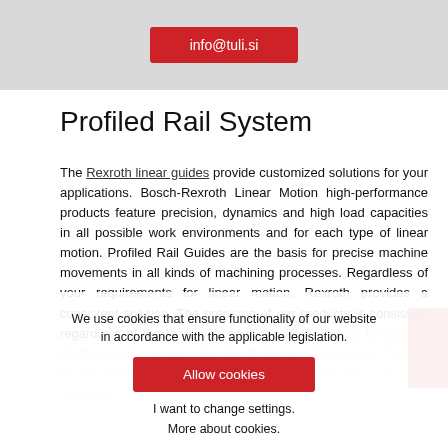[Figure (other): Red email button on gray banner background showing info@tuli.si]
Profiled Rail System
The Rexroth linear guides provide customized solutions for your applications. Bosch-Rexroth Linear Motion high-performance products feature precision, dynamics and high load capacities in all possible work environments and for each type of linear motion. Profiled Rail Guides are the basis for precise machine movements in all kinds of machining processes. Regardless of your requirements for linear motion, Rexroth provides a consistent solution. The precision of our products is consistent regardless of the load or speed, consistent across throughout its lifetime. Our product families Roller and Rail Guides. Thanks to the precise workmanship and interoperable class you can combine
We use cookies that ensure functionality of our website in accordance with the applicable legislation.
Allow cookies
I want to change settings.
More about cookies.